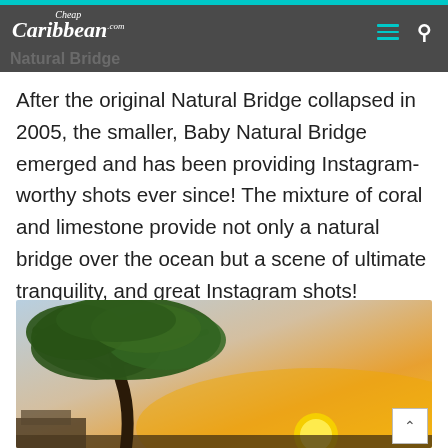CheapCaribbean.com — Natural Bridge
After the original Natural Bridge collapsed in 2005, the smaller, Baby Natural Bridge emerged and has been providing Instagram-worthy shots ever since! The mixture of coral and limestone provide not only a natural bridge over the ocean but a scene of ultimate tranquility, and great Instagram shots!
[Figure (photo): A large gnarled tropical tree silhouetted against a warm sunset sky with orange and golden hues near the ocean.]